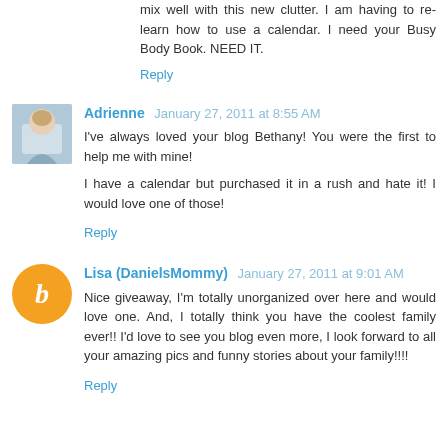mix well with this new clutter. I am having to re-learn how to use a calendar. I need your Busy Body Book. NEED IT.
Reply
Adrienne  January 27, 2011 at 8:55 AM
I've always loved your blog Bethany! You were the first to help me with mine!
I have a calendar but purchased it in a rush and hate it! I would love one of those!
Reply
Lisa (DanielsMommy)  January 27, 2011 at 9:01 AM
Nice giveaway, I'm totally unorganized over here and would love one. And, I totally think you have the coolest family ever!! I'd love to see you blog even more, I look forward to all your amazing pics and funny stories about your family!!!!
Reply